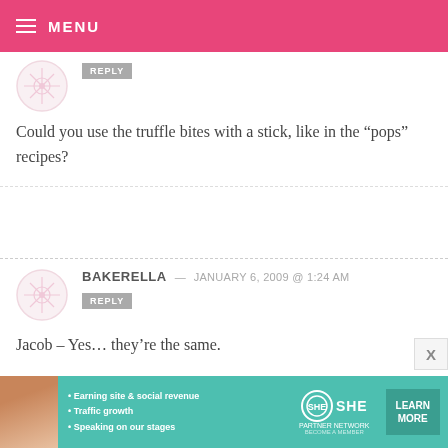MENU
Could you use the truffle bites with a stick, like in the “pops” recipes?
BAKERELLA — JANUARY 6, 2009 @ 1:24 AM
Jacob – Yes… they’re the same.

You can find other colors in vanilla flavor as well. Check out Hobby Lobby or Michaels.
[Figure (infographic): SHE Partner Network advertisement banner with teal background, woman photo, bullet points about earning site & social revenue, traffic growth, speaking on stages, SHE logo, and LEARN MORE button]